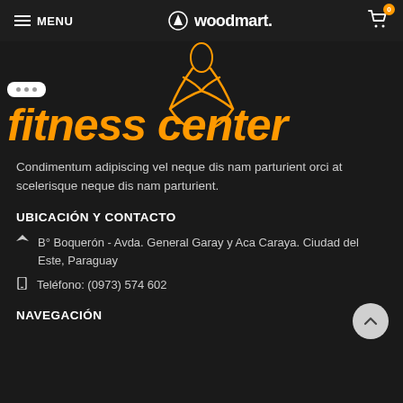MENU | woodmart. | 0
[Figure (logo): Fitness center logo with orange abstract figure and orange italic text 'fitness center']
Condimentum adipiscing vel neque dis nam parturient orci at scelerisque neque dis nam parturient.
UBICACIÓN Y CONTACTO
B° Boquerón - Avda. General Garay y Aca Caraya. Ciudad del Este, Paraguay
Teléfono: (0973) 574 602
NAVEGACIÓN